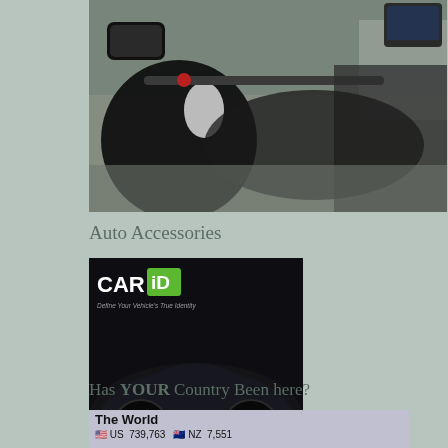[Figure (photo): Motorcycle handlebar view from rider perspective, riding on a road, black gloves visible, GPS/navigation device mounted on handlebars]
Auto Accessories
[Figure (illustration): CARiD advertisement banner showing a black car with large wheels, text 'Define Your Vehicle's True Identity', green logo with 'CAR iD', blue 'SHOP NOW' button]
Has YOUR Country Been here?
[Figure (infographic): World visitor widget showing country flags and visit counts: US 739,763 | NZ 7,551 | CA 122,470 | BR 7,466]